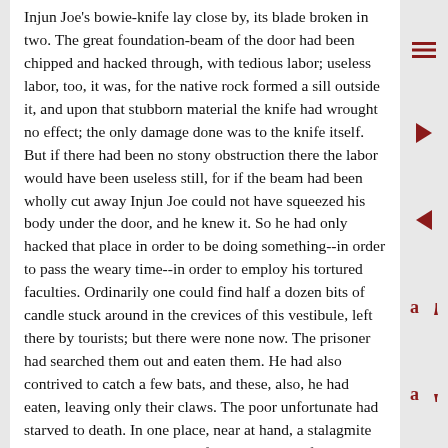Injun Joe's bowie-knife lay close by, its blade broken in two. The great foundation-beam of the door had been chipped and hacked through, with tedious labor; useless labor, too, it was, for the native rock formed a sill outside it, and upon that stubborn material the knife had wrought no effect; the only damage done was to the knife itself. But if there had been no stony obstruction there the labor would have been useless still, for if the beam had been wholly cut away Injun Joe could not have squeezed his body under the door, and he knew it. So he had only hacked that place in order to be doing something--in order to pass the weary time--in order to employ his tortured faculties. Ordinarily one could find half a dozen bits of candle stuck around in the crevices of this vestibule, left there by tourists; but there were none now. The prisoner had searched them out and eaten them. He had also contrived to catch a few bats, and these, also, he had eaten, leaving only their claws. The poor unfortunate had starved to death. In one place, near at hand, a stalagmite had been slowly growing up from the ground for ages, builded by the water-drip from a stalactite overhead. The captive had broken off the stalagmite, and upon the stump had placed a stone, wherein he had scooped a shallow hollow to catch the precious drop that fell once in every three minutes with the dreary regularity of a clock-tick--a dessertspoonful once in four and twenty hours. That drop was falling when the Pyramids were new; when Troy fell; when the foundations of Rome were laid; when Christ was crucified; when the Conqueror created the British